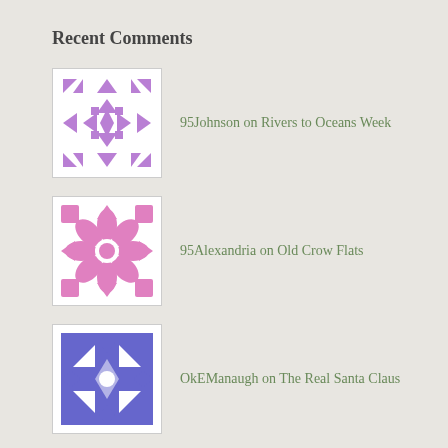Recent Comments
95Johnson on Rivers to Oceans Week
95Alexandria on Old Crow Flats
OkEManaugh on The Real Santa Claus
get more info on What is Reality?
adam and eve adult s... on Old Crow Flats